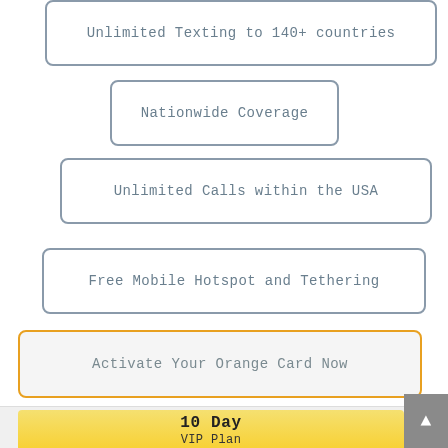Unlimited Texting to 140+ countries
Nationwide Coverage
Unlimited Calls within the USA
Free Mobile Hotspot and Tethering
Activate Your Orange Card Now
10 Day
VIP Plan